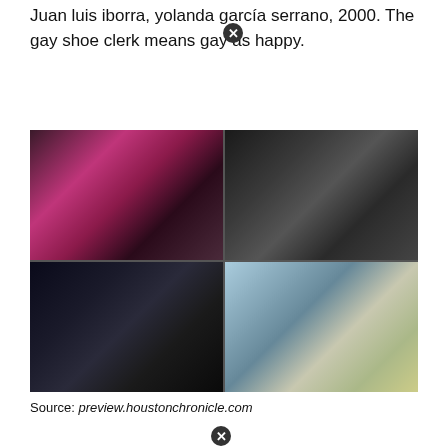Juan luis iborra, yolanda garcia serrano, 2000. The gay shoe clerk means gay as happy.
[Figure (photo): A 2x2 grid of four photos: top-left shows colorful drag performers at a party; top-right shows two men in tuxedos in a black-and-white wedding photo; bottom-left shows a young Black person wearing a hat in a dark setting; bottom-right shows two women at a diner or nail salon near a window with a street view.]
Source: preview.houstonchronicle.com